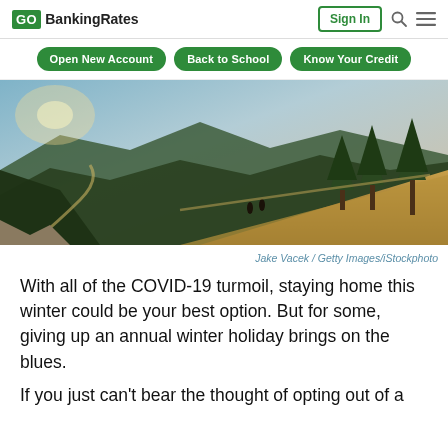GO BankingRates | Sign In | Search | Menu
Open New Account
Back to School
Know Your Credit
[Figure (photo): Aerial view of a mountain ridgeline with trees, dry golden grass, hikers on a path, and a winding road in the valley below at sunset.]
Jake Vacek / Getty Images/iStockphoto
With all of the COVID-19 turmoil, staying home this winter could be your best option. But for some, giving up an annual winter holiday brings on the blues.
If you just can't bear the thought of opting out of a